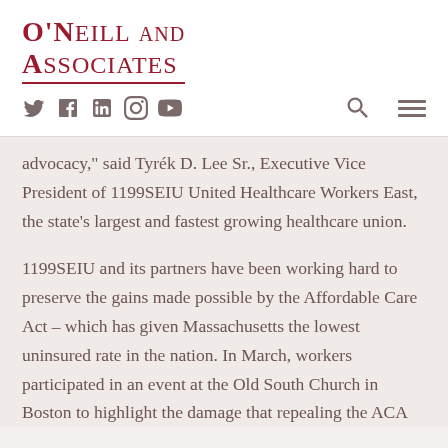O'Neill and Associates
[Figure (logo): O'Neill and Associates logo with social media icons (Twitter, Facebook, LinkedIn, Instagram, YouTube), search icon, and hamburger menu icon]
advocacy," said Tyrek D. Lee Sr., Executive Vice President of 1199SEIU United Healthcare Workers East, the state's largest and fastest growing healthcare union.
1199SEIU and its partners have been working hard to preserve the gains made possible by the Affordable Care Act – which has given Massachusetts the lowest uninsured rate in the nation. In March, workers participated in an event at the Old South Church in Boston to highlight the damage that repealing the ACA